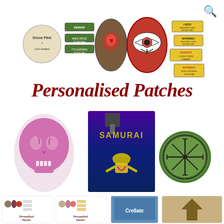[Figure (illustration): Collection of embroidered/printed patches including drone pilot badge, green warning labels, oval brown patch with rose, red oval with eye of Ra, and yellow warning dog signs]
Personalised Patches
[Figure (photo): Three patches: pink/red embroidered skull patch on left, center photo of embroidery machine stitching a colorful design on dark fabric, right side circular green coin/patch with Norse vegvisir compass symbol]
[Figure (illustration): Bottom row showing four small product thumbnail images: two Personalised Patches logos, one Cre8ate branded patch, and one tan/khaki square patch with stylized arrow/anchor design]